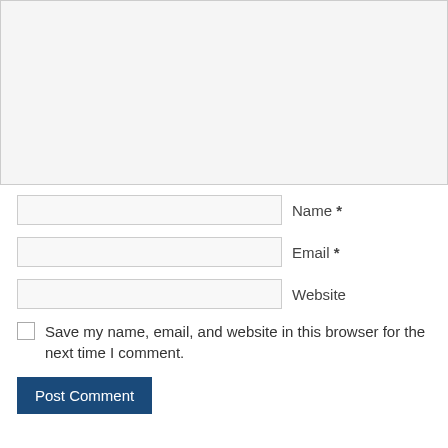[Figure (other): Text area input field with light gray background]
Name *
Email *
Website
Save my name, email, and website in this browser for the next time I comment.
Post Comment
This site uses Akismet to reduce spam. Learn how your comment data is processed.